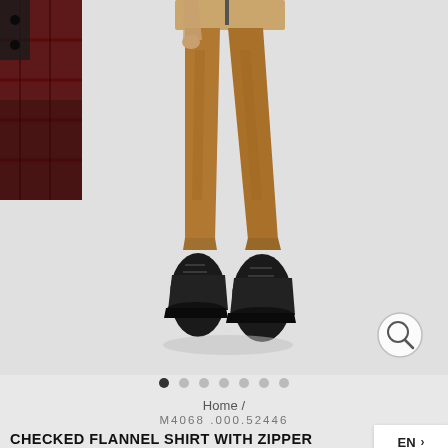[Figure (photo): E-commerce product page screenshot showing a male model wearing tan/caramel colored slim trousers and black leather boots, with a thumbnail of a checked flannel shirt on the left side. Background is light gray.]
• • • • • • •
Home /
M4068 .000.52446
CHECKED FLANNEL SHIRT WITH ZIPPER
EN >